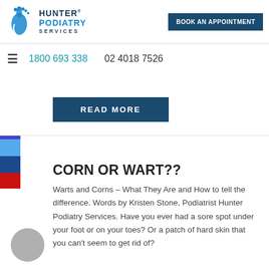[Figure (logo): Hunter Podiatry Services logo with foot icon in blue tones and text showing HUNTER PODIATRY SERVICES]
BOOK AN APPOINTMENT
1800 693 338   02 4018 7526
[Figure (other): READ MORE button (dark navy rectangle)]
CORN OR WART??
Warts and Corns – What They Are and How to tell the difference. Words by Kristen Stone, Podiatrist Hunter Podiatry Services. Have you ever had a sore spot under your foot or on your toes? Or a patch of hard skin that you can't seem to get rid of?